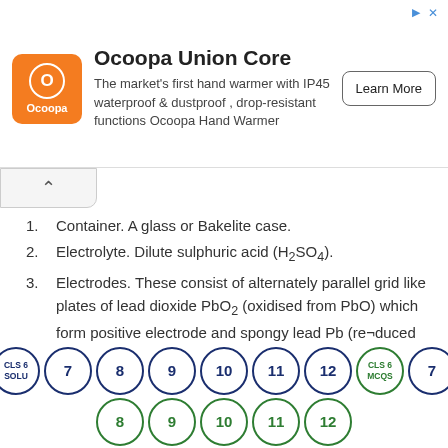[Figure (other): Advertisement banner for Ocoopa Union Core hand warmer with orange logo, description text, and Learn More button]
Container. A glass or Bakelite case.
Electrolyte. Dilute sulphuric acid (H2SO4).
Electrodes. These consist of alternately parallel grid like plates of lead dioxide PbO2 (oxidised from PbO) which form positive electrode and spongy lead Pb (re¬duced from PbO) which form negative electrode. These alternate plates are insulated from each other by porous separators made of wood, rubber,
[Figure (other): Bottom navigation bar with numbered circles (CLS 6 SOLU, 7, 8, 9, 10, 11, 12, CLS 6 MCQS, 7) in blue and green (8, 9, 10, 11, 12)]